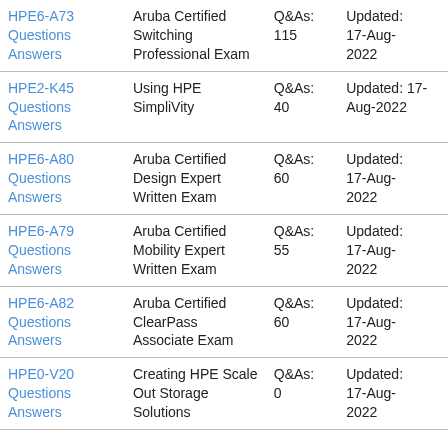| Exam | Description | Q&As | Updated |
| --- | --- | --- | --- |
| HPE6-A73 Questions Answers | Aruba Certified Switching Professional Exam | Q&As: 115 | Updated: 17-Aug-2022 |
| HPE2-K45 Questions Answers | Using HPE SimpliVity | Q&As: 40 | Updated: 17-Aug-2022 |
| HPE6-A80 Questions Answers | Aruba Certified Design Expert Written Exam | Q&As: 60 | Updated: 17-Aug-2022 |
| HPE6-A79 Questions Answers | Aruba Certified Mobility Expert Written Exam | Q&As: 55 | Updated: 17-Aug-2022 |
| HPE6-A82 Questions Answers | Aruba Certified ClearPass Associate Exam | Q&As: 60 | Updated: 17-Aug-2022 |
| HPE0-V20 Questions Answers | Creating HPE Scale Out Storage Solutions | Q&As: 0 | Updated: 17-Aug-2022 |